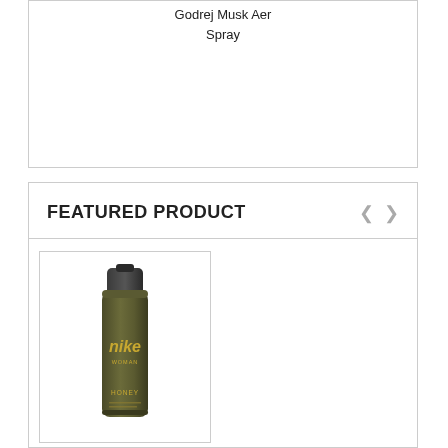Godrej Musk Aer Spray
FEATURED PRODUCT
[Figure (photo): Nike Woman Honey deodorant body spray in a dark olive/gold colored aerosol can with dark gray cap]